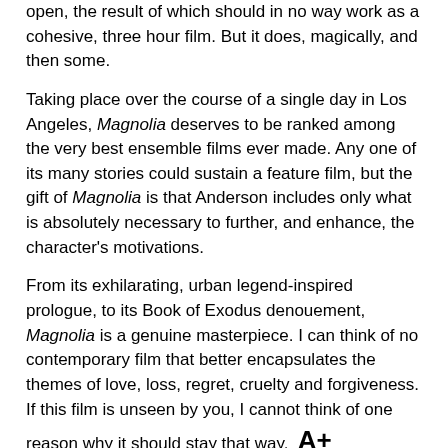open, the result of which should in no way work as a cohesive, three hour film.  But it does, magically, and then some.
Taking place over the course of a single day in Los Angeles, Magnolia deserves to be ranked among the very best ensemble films ever made.  Any one of its many stories could sustain a feature film, but the gift of Magnolia is that Anderson includes only what is absolutely necessary to further, and enhance, the character's motivations.
From its exhilarating, urban legend-inspired prologue, to its Book of Exodus denouement, Magnolia is a genuine masterpiece. I can think of no contemporary film that better encapsulates the themes of love, loss, regret, cruelty and forgiveness. If this film is unseen by you, I cannot think of one reason why it should stay that way.  A+
Favorite scene: Movie moments don't get much better than the simultaneous breakdowns of Jimmy Gator (Philip Baker Hall), Linda Partridge (Julianne Moore), Quiz Kid Donnie Smith (William H. Macy), and Frank Mackey (Tom Cruise).  But to be fair, that takes up, what… 20 minutes?